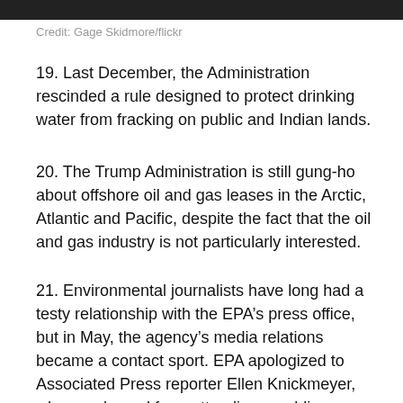[Figure (photo): Dark photo strip at the top of the page showing partial images of people]
Credit: Gage Skidmore/flickr
19. Last December, the Administration rescinded a rule designed to protect drinking water from fracking on public and Indian lands.
20. The Trump Administration is still gung-ho about offshore oil and gas leases in the Arctic, Atlantic and Pacific, despite the fact that the oil and gas industry is not particularly interested.
21. Environmental journalists have long had a testy relationship with the EPA’s press office, but in May, the agency’s media relations became a contact sport. EPA apologized to Associated Press reporter Ellen Knickmeyer, who was barred from attending a public meeting on drinking water safety, then forcibly removed from the event.